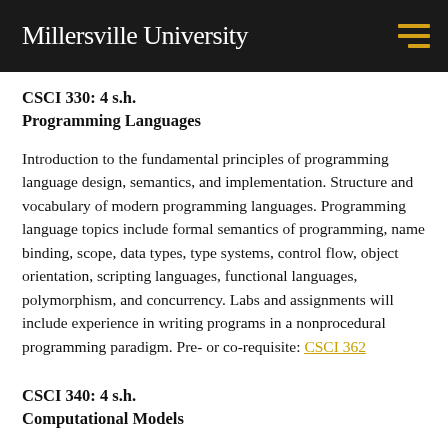Millersville University
CSCI 330:  4 s.h.
Programming Languages
Introduction to the fundamental principles of programming language design, semantics, and implementation. Structure and vocabulary of modern programming languages. Programming language topics include formal semantics of programming, name binding, scope, data types, type systems, control flow, object orientation, scripting languages, functional languages, polymorphism, and concurrency. Labs and assignments will include experience in writing programs in a nonprocedural programming paradigm. Pre- or co-requisite: CSCI 362
CSCI 340:  4 s.h.
Computational Models